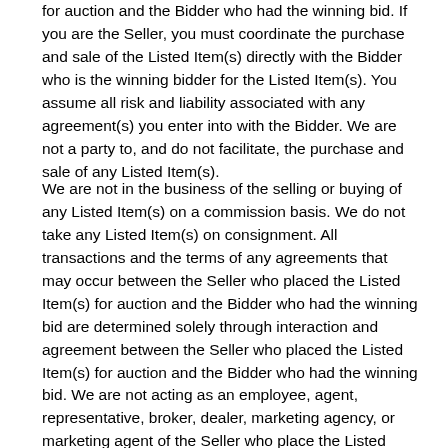for auction and the Bidder who had the winning bid. If you are the Seller, you must coordinate the purchase and sale of the Listed Item(s) directly with the Bidder who is the winning bidder for the Listed Item(s). You assume all risk and liability associated with any agreement(s) you enter into with the Bidder. We are not a party to, and do not facilitate, the purchase and sale of any Listed Item(s).
We are not in the business of the selling or buying of any Listed Item(s) on a commission basis. We do not take any Listed Item(s) on consignment. All transactions and the terms of any agreements that may occur between the Seller who placed the Listed Item(s) for auction and the Bidder who had the winning bid are determined solely through interaction and agreement between the Seller who placed the Listed Item(s) for auction and the Bidder who had the winning bid. We are not acting as an employee, agent, representative, broker, dealer, marketing agency, or marketing agent of the Seller who place the Listed Item(s) for auction or the Bidder who is the winning bidder of the Listed Item(s) or for any user of our Site or Services. We do not produce, handle, hold, ship, feed, process, distribute, transport, deliver, or take possession of any Listed Item(s) at any time. We do not collect, handle or remit any money, payments, checkoff fees, receivables or proceeds from any